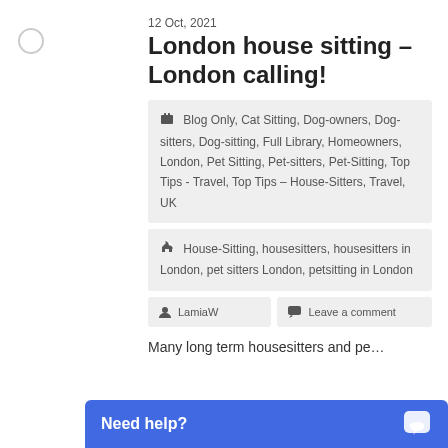12 Oct, 2021
London house sitting – London calling!
Blog Only, Cat Sitting, Dog-owners, Dog-sitters, Dog-sitting, Full Library, Homeowners, London, Pet Sitting, Pet-sitters, Pet-Sitting, Top Tips - Travel, Top Tips – House-Sitters, Travel, UK
House-Sitting, housesitters, housesitters in London, pet sitters London, petsitting in London
LamiaW
Leave a comment
Many long term housesitters and pe…